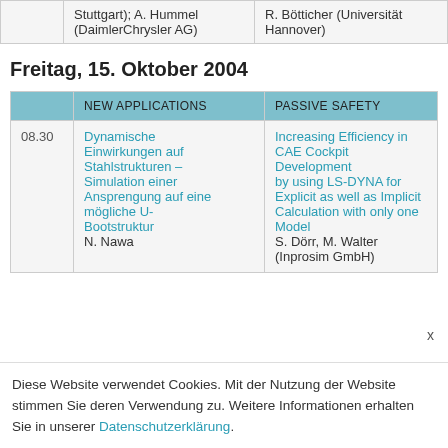|  |  |  |
| --- | --- | --- |
|  | Stuttgart); A. Hummel (DaimlerChrysler AG) | R. Bötticher (Universität Hannover) |
Freitag, 15. Oktober 2004
|  | NEW APPLICATIONS | PASSIVE SAFETY |
| --- | --- | --- |
| 08.30 | Dynamische Einwirkungen auf Stahlstrukturen – Simulation einer Ansprengung auf eine mögliche U-Bootstruktur
N. Nawa | Increasing Efficiency in CAE Cockpit Development by using LS-DYNA for Explicit as well as Implicit Calculation with only one Model
S. Dörr, M. Walter (Inprosim GmbH) |
Diese Website verwendet Cookies. Mit der Nutzung der Website stimmen Sie deren Verwendung zu. Weitere Informationen erhalten Sie in unserer Datenschutzerklärung.